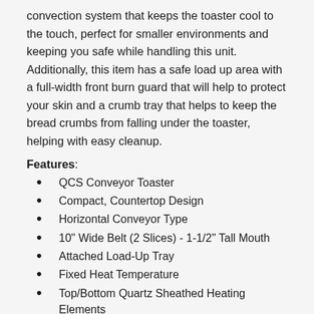convection system that keeps the toaster cool to the touch, perfect for smaller environments and keeping you safe while handling this unit. Additionally, this item has a safe load up area with a full-width front burn guard that will help to protect your skin and a crumb tray that helps to keep the bread crumbs from falling under the toaster, helping with easy cleanup.
Features:
QCS Conveyor Toaster
Compact, Countertop Design
Horizontal Conveyor Type
10" Wide Belt (2 Slices) - 1-1/2" Tall Mouth
Attached Load-Up Tray
Fixed Heat Temperature
Top/Bottom Quartz Sheathed Heating Elements
Adjustable Conveyor Speed Controls Browning
Stainless Steel Cool Touch Exterior
Up to 350 Slices per Hour
Heated Holding Bin/Unload Chute